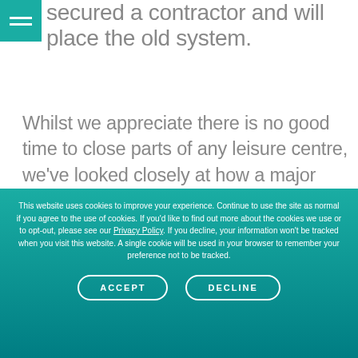secured a contractor and will place the old system.
Whilst we appreciate there is no good time to close parts of any leisure centre, we've looked closely at how a major piece of work such as this can be carried out with the least disruption to our customers.
This website uses cookies to improve your experience. Continue to use the site as normal if you agree to the use of cookies. If you'd like to find out more about the cookies we use or to opt-out, please see our Privacy Policy. If you decline, your information won't be tracked when you visit this website. A single cookie will be used in your browser to remember your preference not to be tracked.